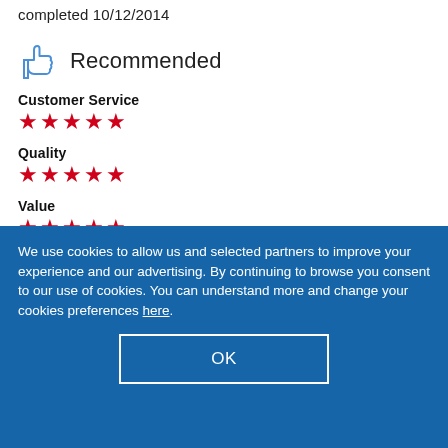completed 10/12/2014
Recommended
Customer Service ★★★★★
Quality ★★★★★
Value ★★★★★
We use cookies to allow us and selected partners to improve your experience and our advertising. By continuing to browse you consent to our use of cookies. You can understand more and change your cookies preferences here.
OK